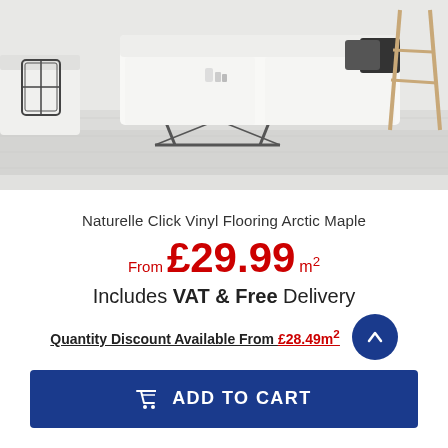[Figure (photo): Living room scene with white sofa, wooden coffee table with metal frame, lantern, and light grey vinyl flooring]
Naturelle Click Vinyl Flooring Arctic Maple
From £29.99 m²
Includes VAT & Free Delivery
Quantity Discount Available From £28.49m²
ADD TO CART